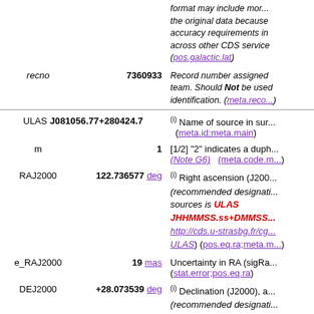| Field | Value | Description |
| --- | --- | --- |
| recno | 7360933 | Record number assigned by... team. Should Not be used... identification. (meta.reco...) |
| ULAS J081056.77+280424.7 |  | (i) Name of source in sur... (meta.id;meta.main) |
| m | 1 | [1/2] "2" indicates a dupl... (Note G6) (meta.code.m...) |
| RAJ2000 | 122.736577 deg | (i) Right ascension (J200... (recommended designati... sources is ULAS JHHMMSS.ss+DMMSS... http://cds.u-strasbg.fr/cg... ULAS) (pos.eq.ra;meta.m...) |
| e_RAJ2000 | 19 mas | Uncertainty in RA (sigRa... (stat.error;pos.eq.ra) |
| DEJ2000 | +28.073539 deg | (i) Declination (J2000), a... (recommended designati... |